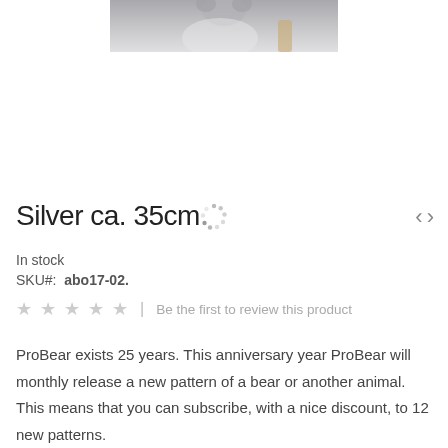[Figure (photo): Partial product photo showing a silver bear/animal figure, cropped at top of page]
Silver ca. 35cm
In stock
SKU#: abo17-02.
Be the first to review this product
ProBear exists 25 years. This anniversary year ProBear will monthly release a new pattern of a bear or another animal. This means that you can subscribe, with a nice discount, to 12 new patterns.